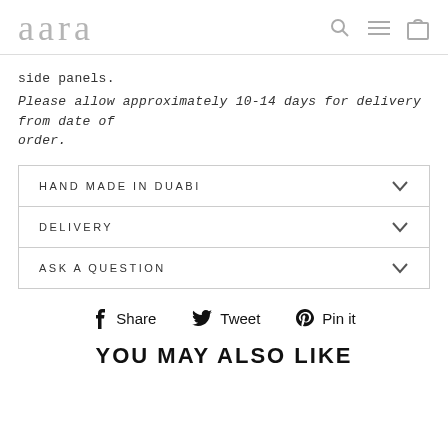aara
side panels.
Please allow approximately 10-14 days for delivery from date of order.
HAND MADE IN DUABI
DELIVERY
ASK A QUESTION
Share  Tweet  Pin it
YOU MAY ALSO LIKE